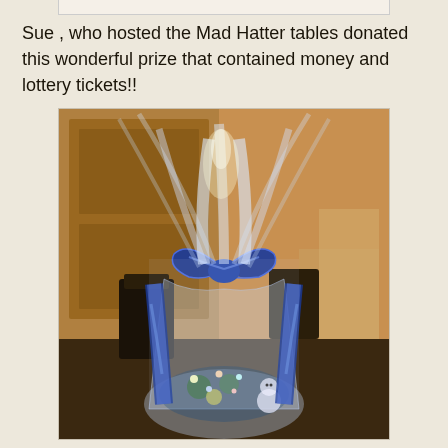Sue , who hosted the Mad Hatter tables donated this wonderful prize that contained money and lottery tickets!!
[Figure (photo): A decorative gift basket wrapped in clear cellophane with a large blue and silver ribbon bow at the top, and additional blue striped ribbon decorations. The basket contains items with lights and ornaments visible inside. The background shows a hotel or banquet hall setting with chairs and tables.]